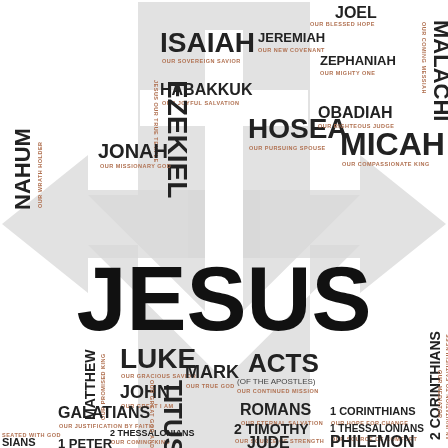[Figure (infographic): Religious infographic showing Bible books arranged around a large cross with arrows pointing in four directions and JESUS in large bold text at the center. Books of the Old Testament (Minor Prophets) appear in the upper section: Joel, Malachi, Jeremiah, Zephaniah, Isaiah, Nahum, Habakkuk, Hosea, Obadiah, Micah, Ezekiel, Jonah. Books of the New Testament appear in the lower section: Matthew, Luke, Mark, John, Acts (of the Apostles), Romans, 1 Corinthians, Galatians, 2 Thessalonians, 1 Thessalonians, 2 Timothy, Philemon, Jude, 2 Corinthians, 1 Timothy, Titus, 1 Peter.]